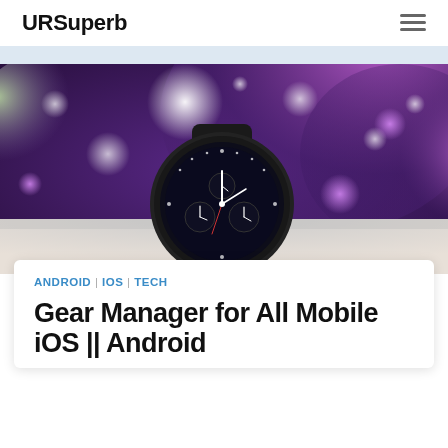URSuperb
[Figure (photo): A Samsung smartwatch with a round dark face and sub-dials placed on a surface against a blurred bokeh background of purple and green lights]
ANDROID | IOS | TECH
Gear Manager for All Mobile iOS || Android